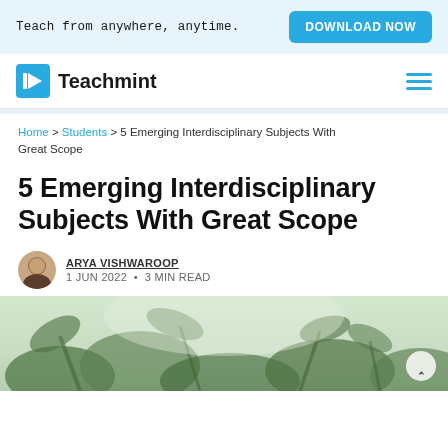Teach from anywhere, anytime. DOWNLOAD NOW
[Figure (logo): Teachmint logo with blue book icon and hamburger menu]
Home > Students > 5 Emerging Interdisciplinary Subjects With Great Scope
5 Emerging Interdisciplinary Subjects With Great Scope
ARYA VISHWAROOP
1 JUN 2022 • 3 MIN READ
[Figure (photo): Blurred green plant leaves background hero image]